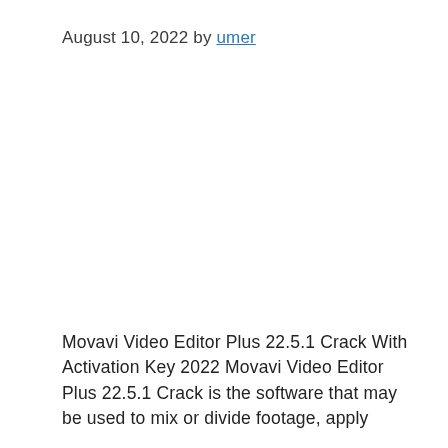August 10, 2022 by umer
Movavi Video Editor Plus 22.5.1 Crack With Activation Key 2022 Movavi Video Editor Plus 22.5.1 Crack is the software that may be used to mix or divide footage, apply footage th- effects, and di- b t d b d